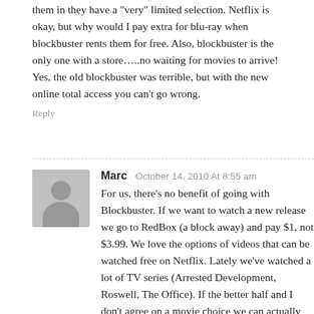them in they have a "very" limited selection. Netflix is okay, but why would I pay extra for blu-ray when blockbuster rents them for free. Also, blockbuster is the only one with a store…..no waiting for movies to arrive! Yes, the old blockbuster was terrible, but with the new online total access you can't go wrong.
Reply
Marc  October 14, 2010 At 8:55 am
For us, there's no benefit of going with Blockbuster. If we want to watch a new release we go to RedBox (a block away) and pay $1, not $3.99. We love the options of videos that can be watched free on Netflix. Lately we've watched a lot of TV series (Arrested Development, Roswell, The Office). If the better half and I don't agree on a movie choice we can actually stream two movies at a time on Netflix. Netflix is cheaper, and we don't watch enough movies to make the two-day delay (one day to the